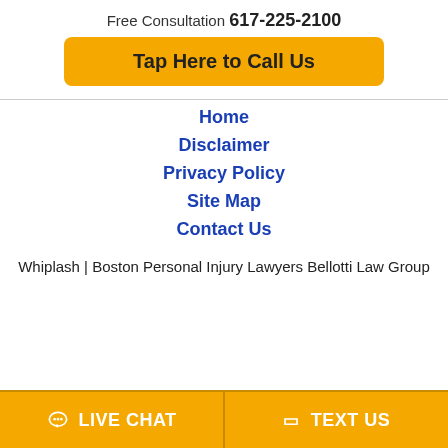Free Consultation 617-225-2100
Tap Here to Call Us
Home
Disclaimer
Privacy Policy
Site Map
Contact Us
Whiplash | Boston Personal Injury Lawyers Bellotti Law Group
LIVE CHAT
TEXT US